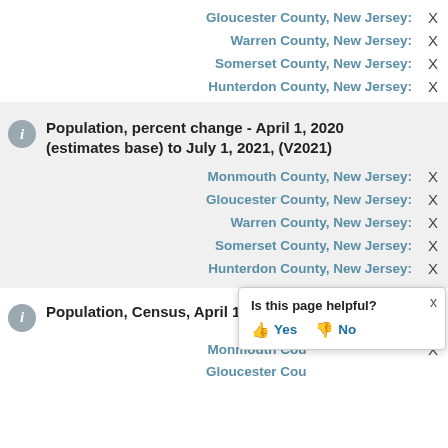Gloucester County, New Jersey: X
Warren County, New Jersey: X
Somerset County, New Jersey: X
Hunterdon County, New Jersey: X
Population, percent change - April 1, 2020 (estimates base) to July 1, 2021, (V2021)
Monmouth County, New Jersey: X
Gloucester County, New Jersey: X
Warren County, New Jersey: X
Somerset County, New Jersey: X
Hunterdon County, New Jersey: X
Population, Census, April 1, 2020
Monmouth County, New Jersey: X
Gloucester County, New Jersey: X